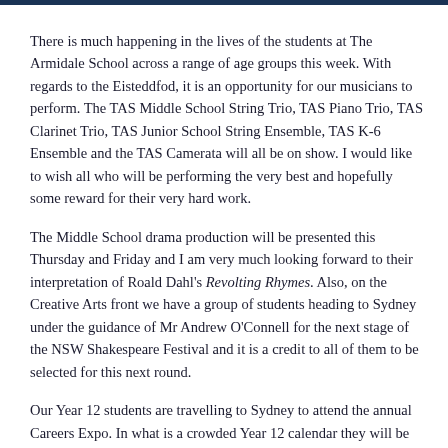There is much happening in the lives of the students at The Armidale School across a range of age groups this week. With regards to the Eisteddfod, it is an opportunity for our musicians to perform. The TAS Middle School String Trio, TAS Piano Trio, TAS Clarinet Trio, TAS Junior School String Ensemble, TAS K-6 Ensemble and the TAS Camerata will all be on show. I would like to wish all who will be performing the very best and hopefully some reward for their very hard work.
The Middle School drama production will be presented this Thursday and Friday and I am very much looking forward to their interpretation of Roald Dahl's Revolting Rhymes. Also, on the Creative Arts front we have a group of students heading to Sydney under the guidance of Mr Andrew O'Connell for the next stage of the NSW Shakespeare Festival and it is a credit to all of them to be selected for this next round.
Our Year 12 students are travelling to Sydney to attend the annual Careers Expo. In what is a crowded Year 12 calendar they will be able to attend — in some cases the full exhibit from start and ...